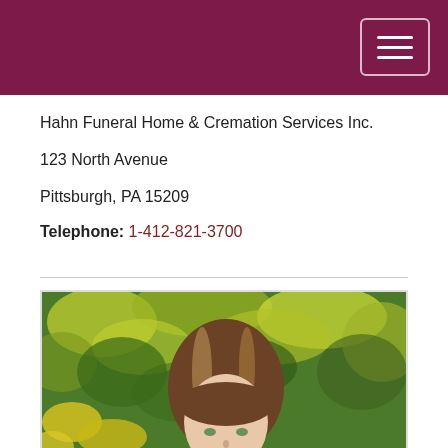Hahn Funeral Home & Cremation Services Inc.
123 North Avenue
Pittsburgh, PA 15209
Telephone: 1-412-821-3700
[Figure (photo): Portrait photo of a woman with brown hair with highlights, wearing casual clothing, with a green leafy bush and yellow flowers as background.]